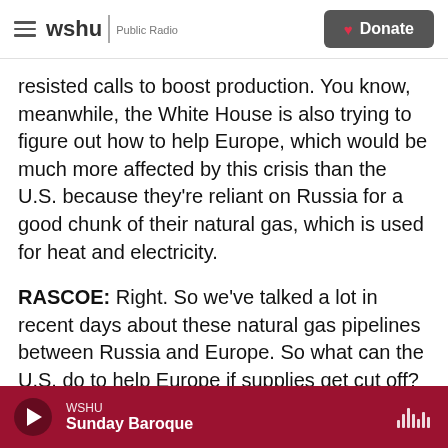wshu | Public Radio  [Donate]
resisted calls to boost production. You know, meanwhile, the White House is also trying to figure out how to help Europe, which would be much more affected by this crisis than the U.S. because they're reliant on Russia for a good chunk of their natural gas, which is used for heat and electricity.
RASCOE: Right. So we've talked a lot in recent days about these natural gas pipelines between Russia and Europe. So what can the U.S. do to help Europe if supplies get cut off?
DOMONOSKE: Yeah, it's interesting. The U.S. is now
WSHU  Sunday Baroque